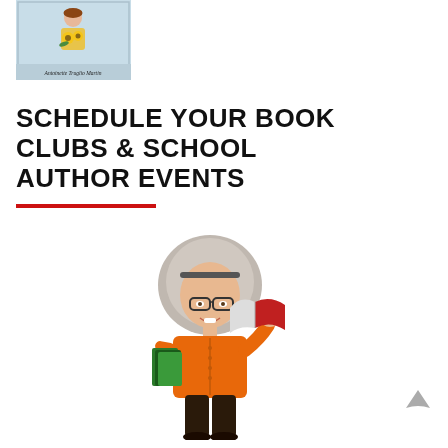[Figure (illustration): Book cover with a woman holding sunflowers and the author name Antoinette Truglio Martin at the bottom on a light blue background]
SCHEDULE YOUR BOOK CLUBS & SCHOOL AUTHOR EVENTS
[Figure (illustration): Bitmoji-style cartoon of a woman with wild grey hair, glasses, and an orange top, holding books — one under her arm and one open in her raised right hand]
[Figure (other): Upward-pointing chevron/arrow scroll-to-top button in grey]